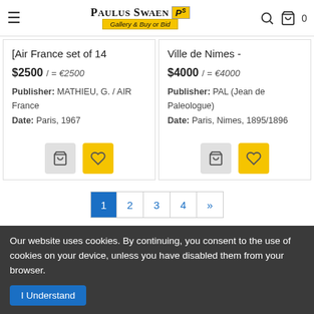Paulus Swaen Gallery & Buy or Bid
[Air France set of 14
$2500 / = €2500
Publisher: MATHIEU, G. / AIR France
Date: Paris, 1967
Ville de Nimes -
$4000 / = €4000
Publisher: PAL (Jean de Paleologue)
Date: Paris, Nimes, 1895/1896
1
2
3
4
»
Our website uses cookies. By continuing, you consent to the use of cookies on your device, unless you have disabled them from your browser.
I Understand